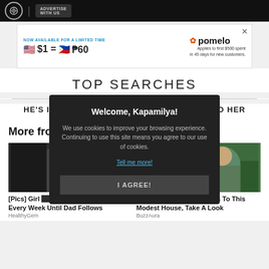ABS-CBN | ADVERTISE WITH US
[Figure (infographic): Pomelo ad banner: NOW AVAILABLE FOR A LIMITED TIME $1 = ₱60 Applies to first $500 spent in 45 days for new customers.]
TOP SEARCHES
HE'S INTO HER
FULL MOVIE
HE'S INTO HER
More fro
[Figure (photo): Photo of a person in dark clothing and cap]
[Figure (photo): Photo of a woman with sunglasses outdoors]
[Pics] Girl Gives Garbage Man Cupcake Every Week Until Dad Follows
HealthyGem
[Pics] At 60, Obama Moves To This Modest House, Take A Look
BuzzAura
Welcome, Kapamilya!

We use cookies to improve your browsing experience.
Continuing to use this site means you agree to our use of cookies.

Tell me more!

I AGREE!